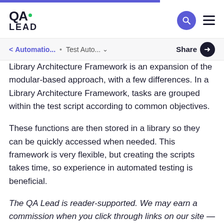QA LEAD
< Automatio... • Test Auto... v   Share
Library Architecture Framework is an expansion of the modular-based approach, with a few differences. In a Library Architecture Framework, tasks are grouped within the test script according to common objectives.
These functions are then stored in a library so they can be quickly accessed when needed. This framework is very flexible, but creating the scripts takes time, so experience in automated testing is beneficial.
The QA Lead is reader-supported. We may earn a commission when you click through links on our site — learn more about how we aim to stay transparent.